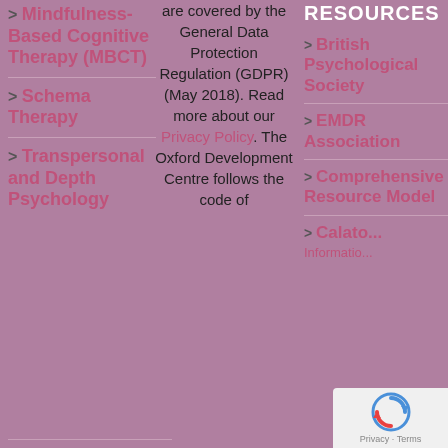> Mindfulness-Based Cognitive Therapy (MBCT)
> Schema Therapy
> Transpersonal and Depth Psychology
are covered by the General Data Protection Regulation (GDPR) (May 2018). Read more about our Privacy Policy. The Oxford Development Centre follows the code of
RESOURCES
> British Psychological Society
> EMDR Association
> Comprehensive Resource Model
> Calato... Informatio...
[Figure (logo): reCAPTCHA privacy badge with blue and red circular arrow icon and text 'Privacy · Terms']